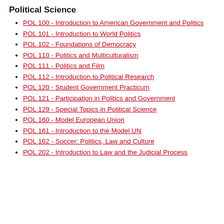Political Science
POL 100 - Introduction to American Government and Politics
POL 101 - Introduction to World Politics
POL 102 - Foundations of Democracy
POL 110 - Politics and Multiculturalism
POL 111 - Politics and Film
POL 112 - Introduction to Political Research
POL 120 - Student Government Practicum
POL 121 - Participation in Politics and Government
POL 129 - Special Topics in Political Science
POL 160 - Model European Union
POL 161 - Introduction to the Model UN
POL 162 - Soccer: Politics, Law and Culture
POL 202 - Introduction to Law and the Judicial Process